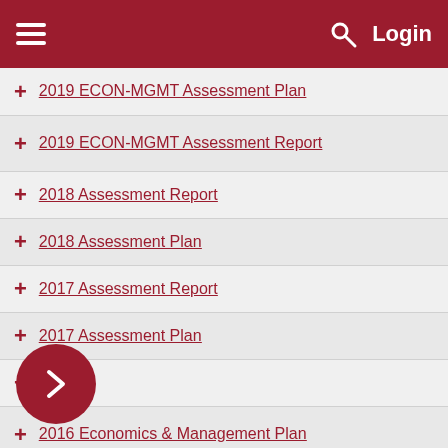Login
2019 ECON-MGMT Assessment Plan
2019 ECON-MGMT Assessment Report
2018 Assessment Report
2018 Assessment Plan
2017 Assessment Report
2017 Assessment Plan
2016
2016 Economics & Management Plan
2015
8